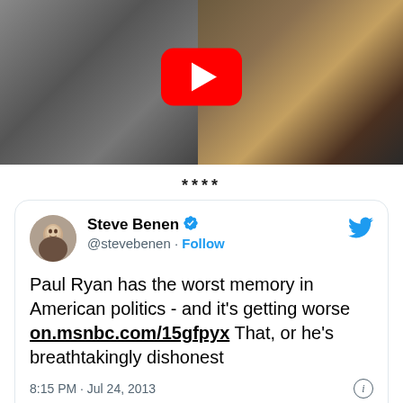[Figure (screenshot): YouTube video thumbnail showing two photos side by side — left is black and white, right is color — with a red YouTube play button overlay in the center]
****
[Figure (screenshot): Embedded tweet from Steve Benen (@stevebenen) with blue verified checkmark. Tweet text: 'Paul Ryan has the worst memory in American politics - and it's getting worse on.msnbc.com/15gfpyx That, or he's breathtakingly dishonest'. Timestamp: 8:15 PM · Jul 24, 2013. Actions: 11 likes, Reply, Copy link.]